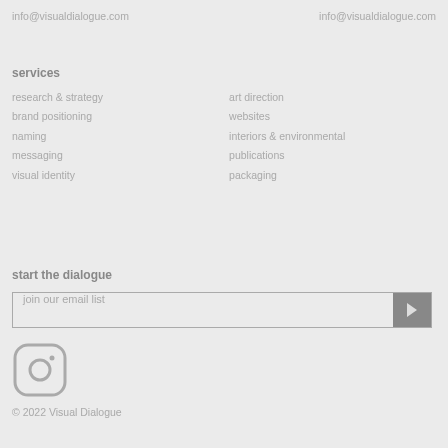info@visualdialogue.com    info@visualdialogue.com
services
research & strategy
brand positioning
naming
messaging
visual identity
art direction
websites
interiors & environmental
publications
packaging
start the dialogue
join our email list
[Figure (logo): Instagram icon (rounded square with camera outline)]
© 2022 Visual Dialogue